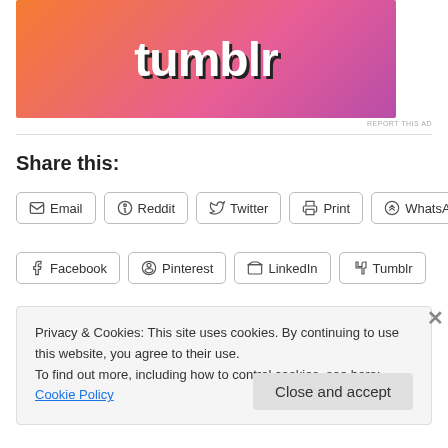[Figure (illustration): Tumblr advertisement banner with orange-to-pink gradient background, featuring the word 'tumblr' in large bold white text with cartoon illustrations]
REPORT THIS AD
Share this:
Email  Reddit  Twitter  Print  WhatsApp  Facebook  Pinterest  LinkedIn  Tumblr
Privacy & Cookies: This site uses cookies. By continuing to use this website, you agree to their use.
To find out more, including how to control cookies, see here: Cookie Policy
Close and accept